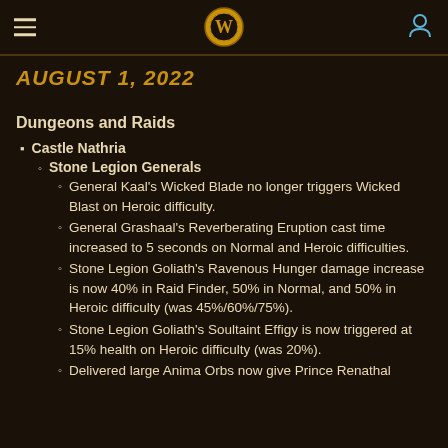World of Warcraft logo header with hamburger menu and user icon
AUGUST 1, 2022
Dungeons and Raids
Castle Nathria
Stone Legion Generals
General Kaal's Wicked Blade no longer triggers Wicked Blast on Heroic difficulty.
General Grashaal's Reverberating Eruption cast time increased to 5 seconds on Normal and Heroic difficulties.
Stone Legion Goliath's Ravenous Hunger damage increase is now 40% in Raid Finder, 50% in Normal, and 50% in Heroic difficulty (was 45%/60%/75%).
Stone Legion Goliath's Soultaint Effigy is now triggered at 15% health on Heroic difficulty (was 20%).
Delivered large Anima Orbs now give Prince Renathal